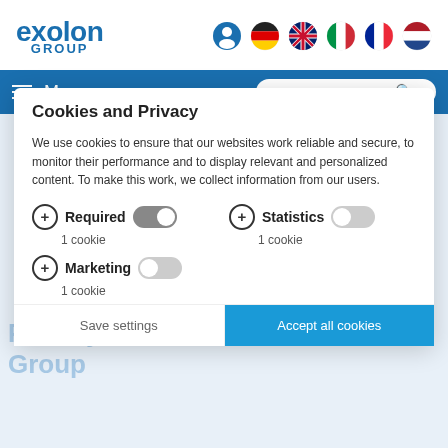[Figure (logo): Exolon Group logo in blue]
[Figure (infographic): Header icons: user profile, German flag, UK flag, Italian flag, French flag, Dutch flag]
Menu | Product search
Cookies and Privacy
We use cookies to ensure that our websites work reliable and secure, to monitor their performance and to display relevant and personalized content. To make this work, we collect information from our users.
Required  1 cookie
Statistics  1 cookie
Marketing  1 cookie
Privacy Statement - Exolon Group
Save settings
Accept all cookies